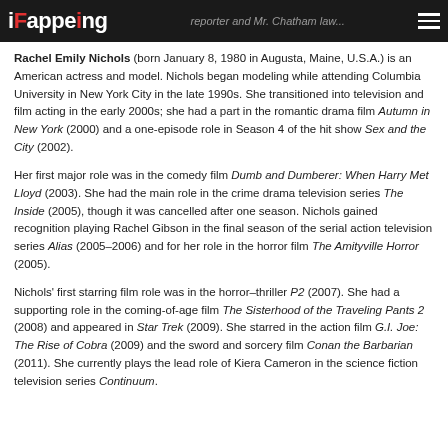iFappeing | ...reporter and Mr. Chatham law...
Rachel Emily Nichols (born January 8, 1980 in Augusta, Maine, U.S.A.) is an American actress and model. Nichols began modeling while attending Columbia University in New York City in the late 1990s. She transitioned into television and film acting in the early 2000s; she had a part in the romantic drama film Autumn in New York (2000) and a one-episode role in Season 4 of the hit show Sex and the City (2002).
Her first major role was in the comedy film Dumb and Dumberer: When Harry Met Lloyd (2003). She had the main role in the crime drama television series The Inside (2005), though it was cancelled after one season. Nichols gained recognition playing Rachel Gibson in the final season of the serial action television series Alias (2005–2006) and for her role in the horror film The Amityville Horror (2005).
Nichols' first starring film role was in the horror–thriller P2 (2007). She had a supporting role in the coming-of-age film The Sisterhood of the Traveling Pants 2 (2008) and appeared in Star Trek (2009). She starred in the action film G.I. Joe: The Rise of Cobra (2009) and the sword and sorcery film Conan the Barbarian (2011). She currently plays the lead role of Kiera Cameron in the science fiction television series Continuum.